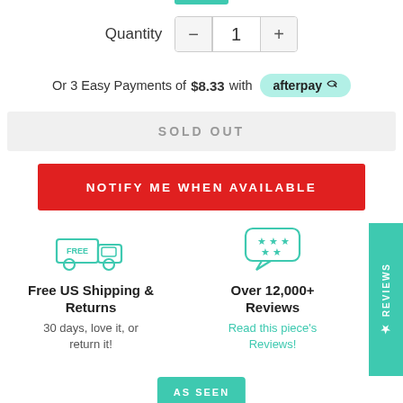Quantity  −  1  +
Or 3 Easy Payments of $8.33 with afterpay
SOLD OUT
NOTIFY ME WHEN AVAILABLE
[Figure (illustration): Free shipping truck icon with FREE label, teal outline]
Free US Shipping & Returns
30 days, love it, or return it!
[Figure (illustration): Chat bubble with stars icon, teal outline]
Over 12,000+ Reviews
Read this piece's Reviews!
★ REVIEWS
AS SEEN